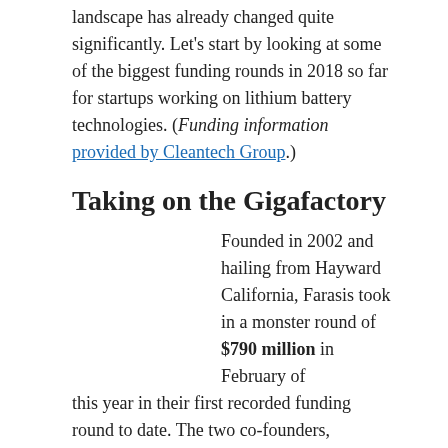landscape has already changed quite significantly. Let's start by looking at some of the biggest funding rounds in 2018 so far for startups working on lithium battery technologies. (Funding information provided by Cleantech Group.)
Taking on the Gigafactory
Founded in 2002 and hailing from Hayward California, Farasis took in a monster round of $790 million in February of this year in their first recorded funding round to date. The two co-founders, currently holding CEO and CTO positions, have extensive experience working on developing lithium batteries. The CFO worked previously in M&A at Merrill Lynch, so they may be looking at expanding through acquisition using all that cash they have on hand. In a news release published late last year, the company talked about a